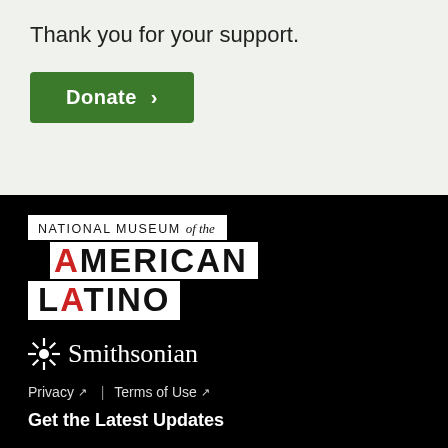Thank you for your support.
[Figure (other): Green 'Donate >' button]
[Figure (logo): National Museum of the American Latino logo on black background]
[Figure (logo): Smithsonian sunburst logo with text 'Smithsonian']
Privacy  |  Terms of Use
Get the Latest Updates
Email Address *
[Figure (other): Email address input text field]
[Figure (other): Scroll to top blue circular button with up arrow]